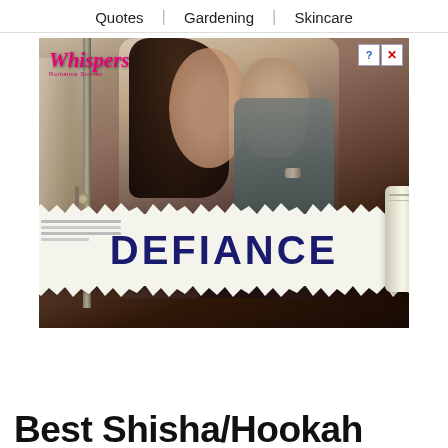Quotes | Gardening | Skincare
[Figure (photo): Advertisement for 'Whispers' romance stories app featuring a romantic couple embracing, with a torn newspaper revealing the word DEFIANCE in bold dark blue letters. A scroll roll appears on the right side. Close/help buttons visible top right.]
Best Shisha/Hookah